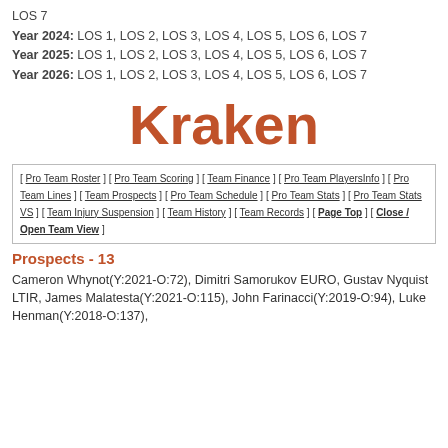LOS 7
Year 2024: LOS 1, LOS 2, LOS 3, LOS 4, LOS 5, LOS 6, LOS 7
Year 2025: LOS 1, LOS 2, LOS 3, LOS 4, LOS 5, LOS 6, LOS 7
Year 2026: LOS 1, LOS 2, LOS 3, LOS 4, LOS 5, LOS 6, LOS 7
Kraken
[ Pro Team Roster ] [ Pro Team Scoring ] [ Team Finance ] [ Pro Team PlayersInfo ] [ Pro Team Lines ] [ Team Prospects ] [ Pro Team Schedule ] [ Pro Team Stats ] [ Pro Team Stats VS ] [ Team Injury Suspension ] [ Team History ] [ Team Records ] [ Page Top ] [ Close / Open Team View ]
Prospects - 13
Cameron Whynot(Y:2021-O:72), Dimitri Samorukov EURO, Gustav Nyquist LTIR, James Malatesta(Y:2021-O:115), John Farinacci(Y:2019-O:94), Luke Henman(Y:2018-O:137),